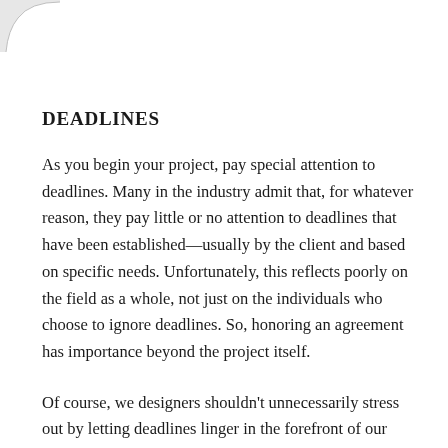DEADLINES
As you begin your project, pay special attention to deadlines. Many in the industry admit that, for whatever reason, they pay little or no attention to deadlines that have been established—usually by the client and based on specific needs. Unfortunately, this reflects poorly on the field as a whole, not just on the individuals who choose to ignore deadlines. So, honoring an agreement has importance beyond the project itself.
Of course, we designers shouldn't unnecessarily stress out by letting deadlines linger in the forefront of our minds, but neither should we ignore requested